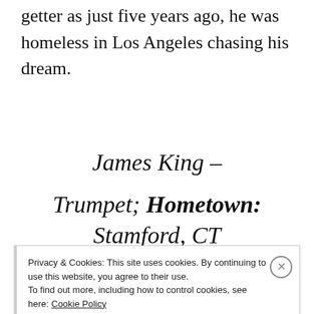getter as just five years ago, he was homeless in Los Angeles chasing his dream.
James King – Trumpet; Hometown: Stamford, CT
Privacy & Cookies: This site uses cookies. By continuing to use this website, you agree to their use. To find out more, including how to control cookies, see here: Cookie Policy
Close and accept